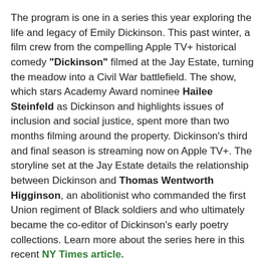The program is one in a series this year exploring the life and legacy of Emily Dickinson. This past winter, a film crew from the compelling Apple TV+ historical comedy "Dickinson" filmed at the Jay Estate, turning the meadow into a Civil War battlefield. The show, which stars Academy Award nominee Hailee Steinfeld as Dickinson and highlights issues of inclusion and social justice, spent more than two months filming around the property. Dickinson's third and final season is streaming now on Apple TV+. The storyline set at the Jay Estate details the relationship between Dickinson and Thomas Wentworth Higginson, an abolitionist who commanded the first Union regiment of Black soldiers and who ultimately became the co-editor of Dickinson's early poetry collections. Learn more about the series here in this recent NY Times article.
Read about the real-life history here – and read more about how the crew transformed the Jay Estate in this new article by Mary Andriotis in House Beautiful magazine.